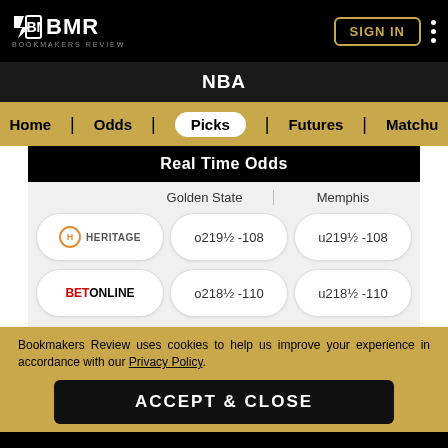BMR BOOKMAKERS REVIEW — SIGN IN
NBA
Home | Odds | Picks | Futures | Matchups
Real Time Odds
|  | Golden State | Memphis |
| --- | --- | --- |
| HERITAGE | o219½ -108 | u219½ -108 |
| BETONLINE | o218½ -110 | u218½ -110 |
Bookmakers Review uses cookies to help us improve your experience in accordance with our Privacy Policy.
ACCEPT & CLOSE
SPORTSBOOKS   TODAY   ODDS   COMMUNITY   LEARN